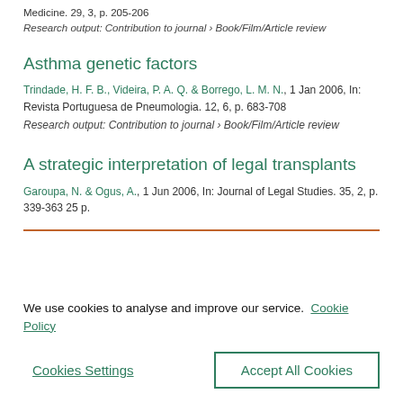Medicine. 29, 3, p. 205-206
Research output: Contribution to journal › Book/Film/Article review
Asthma genetic factors
Trindade, H. F. B., Videira, P. A. Q. & Borrego, L. M. N., 1 Jan 2006, In: Revista Portuguesa de Pneumologia. 12, 6, p. 683-708
Research output: Contribution to journal › Book/Film/Article review
A strategic interpretation of legal transplants
Garoupa, N. & Ogus, A., 1 Jun 2006, In: Journal of Legal Studies. 35, 2, p. 339-363 25 p.
We use cookies to analyse and improve our service. Cookie Policy
Cookies Settings
Accept All Cookies